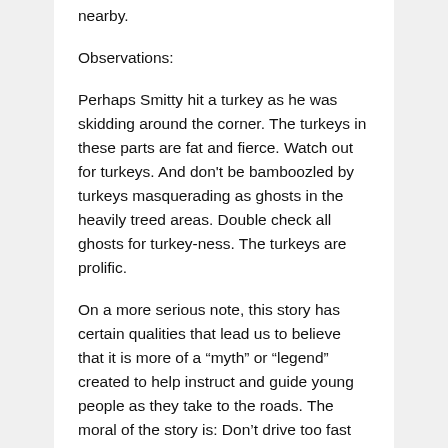nearby.
Observations:
Perhaps Smitty hit a turkey as he was skidding around the corner. The turkeys in these parts are fat and fierce. Watch out for turkeys. And don't be bamboozled by turkeys masquerading as ghosts in the heavily treed areas. Double check all ghosts for turkey-ness. The turkeys are prolific.
On a more serious note, this story has certain qualities that lead us to believe that it is more of a “myth” or “legend” created to help instruct and guide young people as they take to the roads. The moral of the story is: Don’t drive too fast around Smitty’s